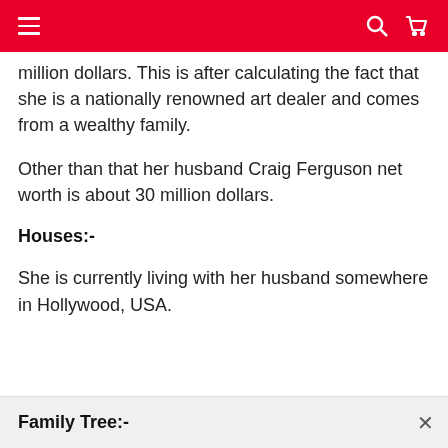Navigation bar with hamburger menu, search and cart icons
million dollars. This is after calculating the fact that she is a nationally renowned art dealer and comes from a wealthy family.
Other than that her husband Craig Ferguson net worth is about 30 million dollars.
Houses:-
She is currently living with her husband somewhere in Hollywood, USA.
Family Tree:-